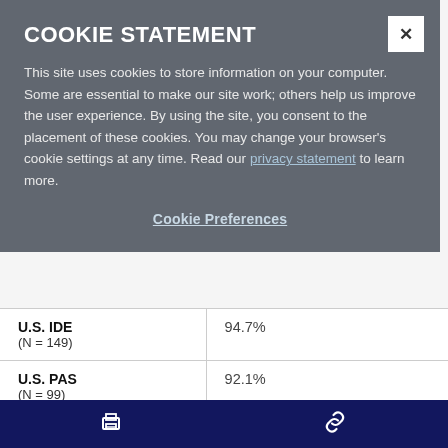COOKIE STATEMENT
This site uses cookies to store information on your computer. Some are essential to make our site work; others help us improve the user experience. By using the site, you consent to the placement of these cookies. You may change your browser's cookie settings at any time. Read our privacy statement to learn more.
Cookie Preferences
|  |  |
| --- | --- |
| U.S. IDE (N = 149) | 94.7% |
| U.S. PAS (N = 99) | 92.1% |
| EU/CA PMSS | 88.7% |